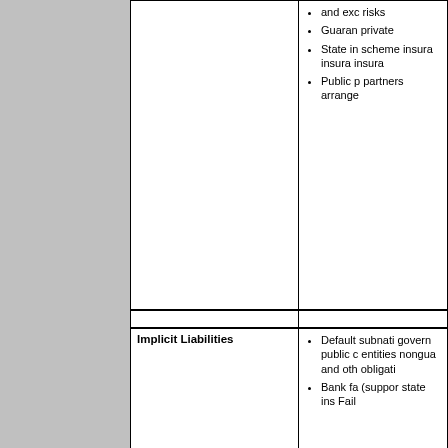|  |  |
| --- | --- |
|  | and exc risks
Guaran private
State in scheme insura insura insura
Public p partners arrange |
|  |  |
| Implicit Liabilities | Default subnati govern public c entities nongua and oth obligati
Bank fa (suppor state ins Fail |